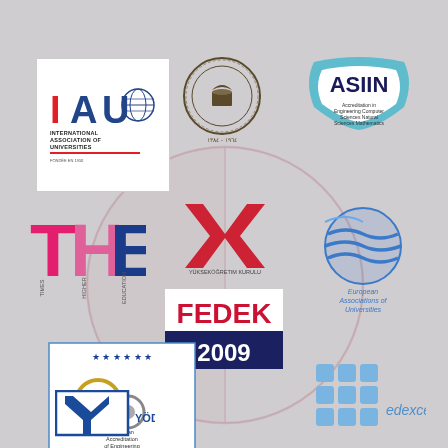[Figure (logo): IAU - International Association of Universities logo with globe icon, red/blue text]
[Figure (logo): Arabic/Islamic Universities association logo with globe and Arabic text]
[Figure (logo): ASIIN - Accreditation in Engineering Computer Sciences Natural Sciences Mathematics logo]
[Figure (logo): THE - Times Higher Education logo in red, pink and blue letters]
[Figure (logo): Yükseköğretim Kurulu (YÖK) logo with XX symbol in red]
[Figure (logo): FEDEK 2009 accreditation logo in navy blue and red]
[Figure (logo): European Associations of Universities (EUA) logo with globe]
[Figure (logo): EUR-ACE European Accreditation of Engineering Programmes logo with stars and gears]
[Figure (logo): Edexcel logo with blue dot grid]
[Figure (logo): YÖDAK logo with blue Y symbol]